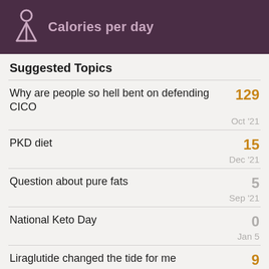Calories per day
Suggested Topics
Why are people so hell bent on defending CICO | 129 | Oct '21
PKD diet | 15 | Dec '21
Question about pure fats | 5 | Sep '21
National Keto Day | 0 | Jan 5
Liraglutide changed the tide for me | 9 | Feb 18